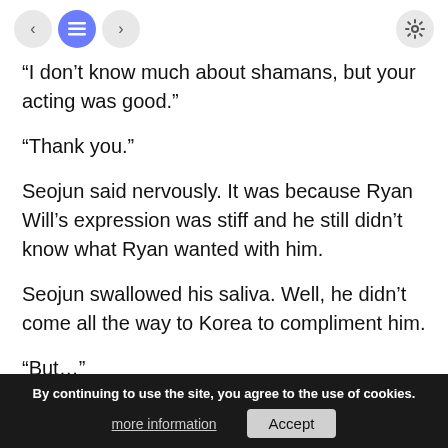< [list] > [settings]
“I don’t know much about shamans, but your acting was good.”
“Thank you.”
Seojun said nervously. It was because Ryan Will’s expression was stiff and he still didn’t know what Ryan wanted with him.
Seojun swallowed his saliva. Well, he didn’t come all the way to Korea to compliment him.
“But…”
“Yes.”
“Do you remember when you auditioned?”
[Figure (screenshot): Cookie consent banner overlay: 'By continuing to use the site, you agree to the use of cookies.' with 'more information' and 'Accept' buttons on dark background.]